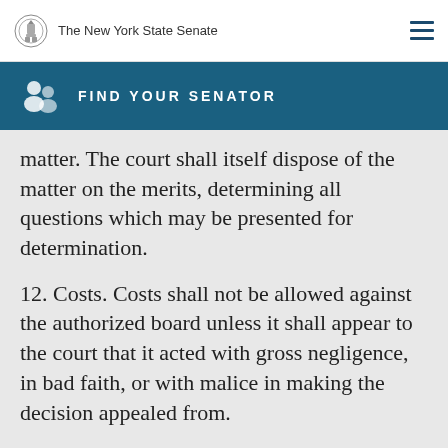The New York State Senate
FIND YOUR SENATOR
matter. The court shall itself dispose of the matter on the merits, determining all questions which may be presented for determination.
12. Costs. Costs shall not be allowed against the authorized board unless it shall appear to the court that it acted with gross negligence, in bad faith, or with malice in making the decision appealed from.